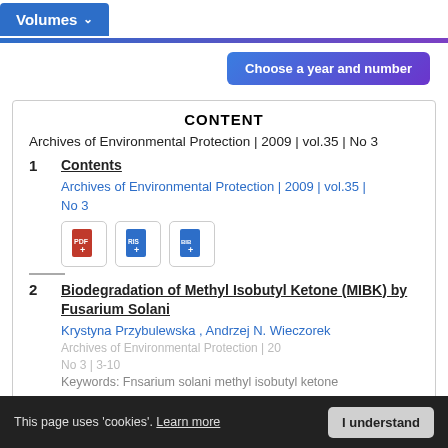Volumes
Choose a year and number
CONTENT
Archives of Environmental Protection | 2009 | vol.35 | No 3
1   Contents
Archives of Environmental Protection | 2009 | vol.35 | No 3
2   Biodegradation of Methyl Isobutyl Ketone (MIBK) by Fusarium Solani
Krystyna Przybulewska , Andrzej N. Wieczorek
Archives of Environmental Protection | 2009 | vol.35 | No 3 | 3-10
Keywords: Fnsarium solani  methyl isobutyl ketone
This page uses 'cookies'. Learn more
I understand